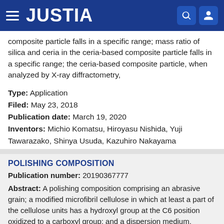[Figure (logo): Justia website header bar with hamburger menu, JUSTIA logo in white on dark blue background, and search and user icons]
composite particle falls in a specific range; mass ratio of silica and ceria in the ceria-based composite particle falls in a specific range; the ceria-based composite particle, when analyzed by X-ray diffractometry,
Type: Application
Filed: May 23, 2018
Publication date: March 19, 2020
Inventors: Michio Komatsu, Hiroyasu Nishida, Yuji Tawarazako, Shinya Usuda, Kazuhiro Nakayama
POLISHING COMPOSITION
Publication number: 20190367777
Abstract: A polishing composition comprising an abrasive grain; a modified microfibril cellulose in which at least a part of the cellulose units has a hydroxyl group at the C6 position oxidized to a carboxyl group; and a dispersion medium, wherein each content of Na and K is